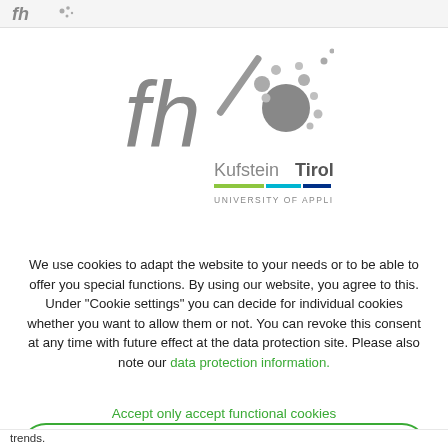fh
[Figure (logo): FH Kufstein Tirol University of Applied Sciences logo — stylized grey 'fh' letters with dot-cluster graphic, text 'KufsteinTirol', three colored bars (green, cyan, blue), and 'UNIVERSITY OF APPLIED SCIENCES' subtitle]
We use cookies to adapt the website to your needs or to be able to offer you special functions. By using our website, you agree to this. Under "Cookie settings" you can decide for individual cookies whether you want to allow them or not. You can revoke this consent at any time with future effect at the data protection site. Please also note our data protection information.
Accept only accept functional cookies
Cookie settings
trends.